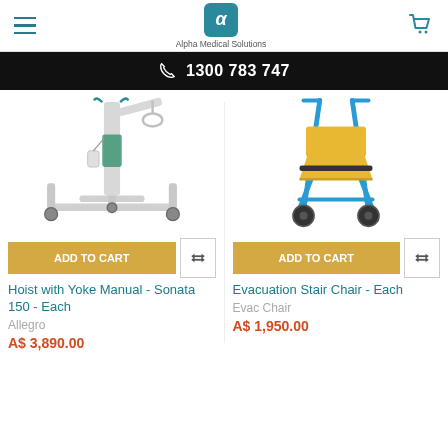Alpha Medical Solutions - 1300 783 747
[Figure (photo): Hoist with Yoke Manual - Sonata 150 product photo: a white mobile patient hoist/lift with teal accents on wheels]
[Figure (photo): Evacuation Stair Chair product photo: a blue metal frame stair evacuation chair with yellow seat and wheels]
ADD TO CART
ADD TO CART
Hoist with Yoke Manual - Sonata 150 - Each
Evacuation Stair Chair - Each
Allegro
Evac Chair
A$ 3,890.00
A$ 1,950.00